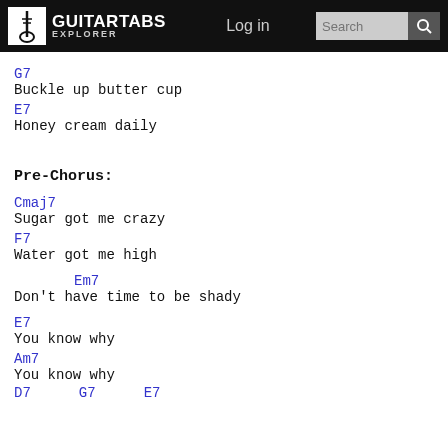GUITARTABS EXPLORER  Log in  Search
G7
Buckle up butter cup
E7
Honey cream daily
Pre-Chorus:
Cmaj7
Sugar got me crazy
F7
Water got me high
Em7
Don't have time to be shady
E7
You know why
Am7
You know why
D7  G7  E7